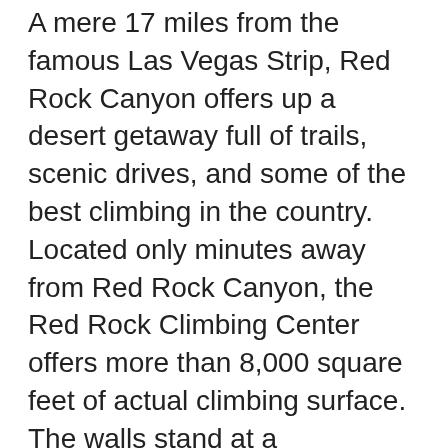A mere 17 miles from the famous Las Vegas Strip, Red Rock Canyon offers up a desert getaway full of trails, scenic drives, and some of the best climbing in the country. Located only minutes away from Red Rock Canyon, the Red Rock Climbing Center offers more than 8,000 square feet of actual climbing surface. The walls stand at a
2018-09-21B B· Do what locals do for fun: Escape the Strip for some time at Red Rock Canyon A guide helps you choose the best trail according to your preferences Hear the New, full color guide book to the rock climbing in Red Rock Canyon Las Vegas, Nevada. This guide book includes detailed topos to